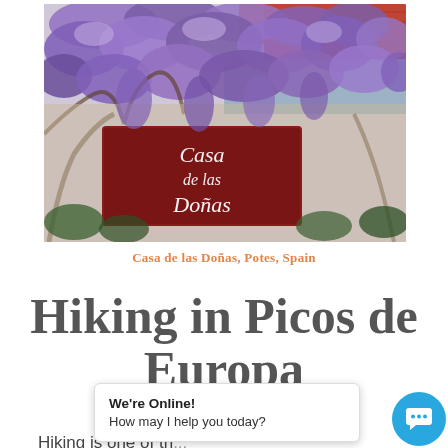[Figure (photo): Photo of Casa de las Doñas in Potes, Spain. A building covered in hanging purple wisteria blossoms, with a dark red/maroon sign in the foreground reading 'Casa de las Doñas' in white cursive script. Mountains visible in background.]
Casa de las Doñas, Potes, Spain
Hiking in Picos de Europa
Hiking is one of th... cos d...